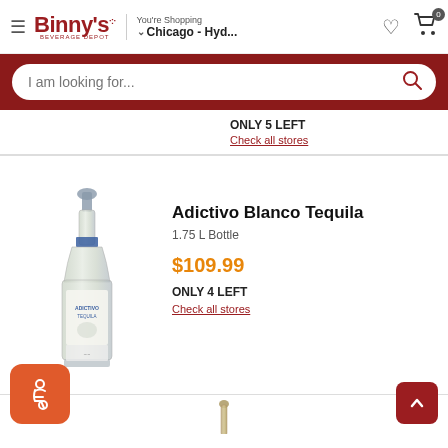Binny's Beverage Depot — You're Shopping — Chicago - Hyd...
I am looking for...
ONLY 5 LEFT
Check all stores
[Figure (photo): Adictivo Blanco Tequila bottle, 1.75 L, clear glass with blue label and ornate stopper]
Adictivo Blanco Tequila
1.75 L Bottle
$109.99
ONLY 4 LEFT
Check all stores
[Figure (photo): Partial view of a bottle at the bottom of the page]